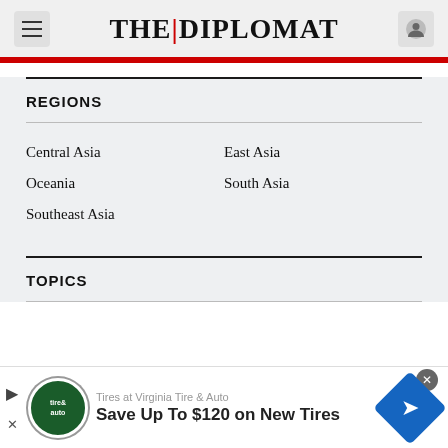THE | DIPLOMAT
REGIONS
Central Asia
East Asia
Oceania
South Asia
Southeast Asia
TOPICS
[Figure (other): Advertisement banner for Virginia Tire & Auto: Save Up To $120 on New Tires]